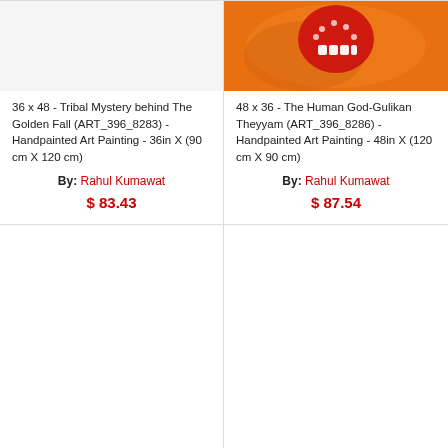[Figure (photo): Top portion of a painting - mostly white/blank visible at top left card]
36 x 48 - Tribal Mystery behind The Golden Fall (ART_396_8283) - Handpainted Art Painting - 36in X (90 cm X 120 cm)
By: Rahul Kumawat
$ 83.43
[Figure (photo): Painting showing a face with teeth and red/orange flame-like background - The Human God-Gulikan Theyyam]
48 x 36 - The Human God-Gulikan Theyyam (ART_396_8286) - Handpainted Art Painting - 48in X (120 cm X 90 cm)
By: Rahul Kumawat
$ 87.54